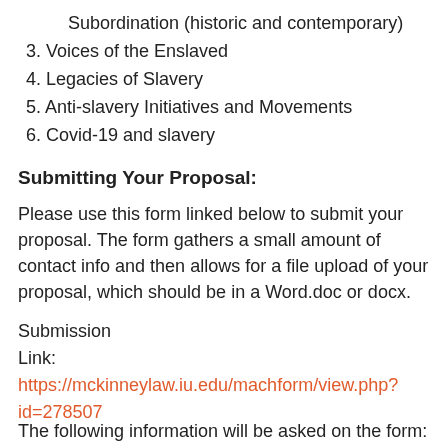Subordination (historic and contemporary)
3. Voices of the Enslaved
4. Legacies of Slavery
5. Anti-slavery Initiatives and Movements
6. Covid-19 and slavery
Submitting Your Proposal:
Please use this form linked below to submit your proposal. The form gathers a small amount of contact info and then allows for a file upload of your proposal, which should be in a Word.doc or docx.
Submission Link: https://mckinneylaw.iu.edu/machform/view.php?id=278507
The following information will be asked on the form: